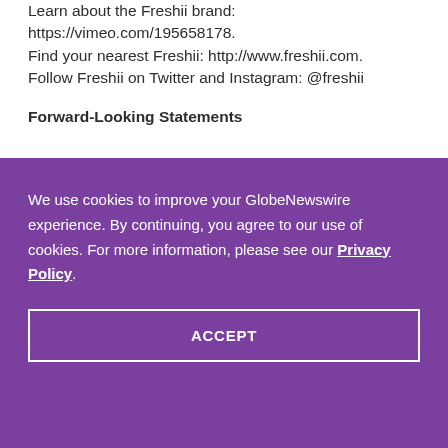Learn about the Freshii brand: https://vimeo.com/195658178.
Find your nearest Freshii: http://www.freshii.com.
Follow Freshii on Twitter and Instagram: @freshii
Forward-Looking Statements
We use cookies to improve your GlobeNewswire experience. By continuing, you agree to our use of cookies. For more information, please see our Privacy Policy.
ACCEPT